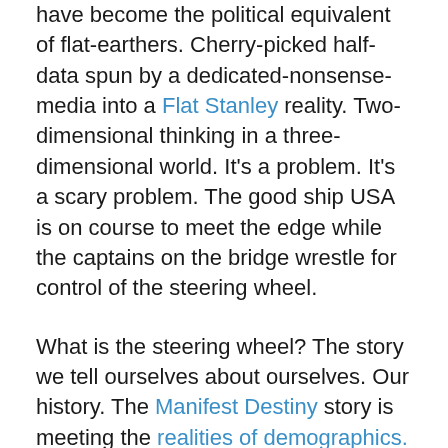have become the political equivalent of flat-earthers. Cherry-picked half-data spun by a dedicated-nonsense-media into a Flat Stanley reality. Two-dimensional thinking in a three-dimensional world. It's a problem. It's a scary problem. The good ship USA is on course to meet the edge while the captains on the bridge wrestle for control of the steering wheel.
What is the steering wheel? The story we tell ourselves about ourselves. Our history. The Manifest Destiny story is meeting the realities of demographics. The party of white-dominance is in a panic to maintain its story of supremacy. They'd rather run us over the edge than let this richly diverse nation fulfill its promise. Fulling the promise begins with telling the full story. In Florida, the governor has literally banned the schools from telling the full history of this nation.